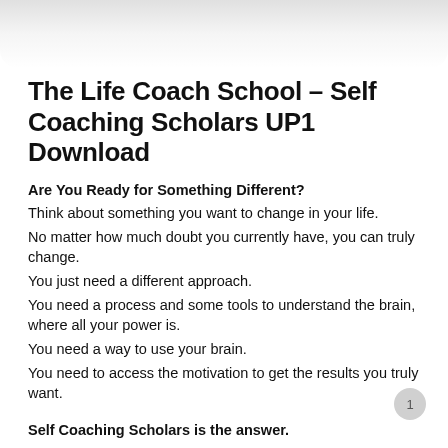[Figure (other): Rounded gray gradient box at top of page, likely image placeholder]
The Life Coach School – Self Coaching Scholars UP1 Download
Are You Ready for Something Different?
Think about something you want to change in your life.
No matter how much doubt you currently have, you can truly change.
You just need a different approach.
You need a process and some tools to understand the brain, where all your power is.
You need a way to use your brain.
You need to access the motivation to get the results you truly want.
Self Coaching Scholars is the answer.